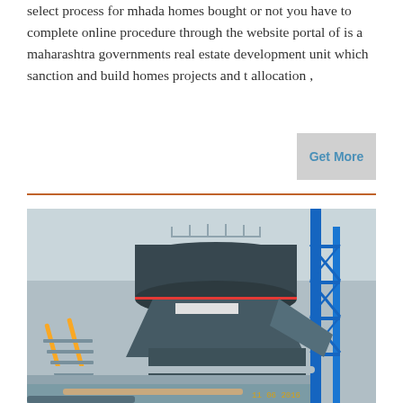select process for mhada homes bought or not you have to complete online procedure through the website portal of is a maharashtra governments real estate development unit which sanction and build homes projects and t allocation ,
[Figure (photo): Photograph of a large industrial or construction facility showing heavy machinery, including a large circular structure, blue metal scaffolding/framework on the right, yellow metal staircases on the left, pipes and structural elements. A timestamp '11 06 2016' visible in the bottom right corner.]